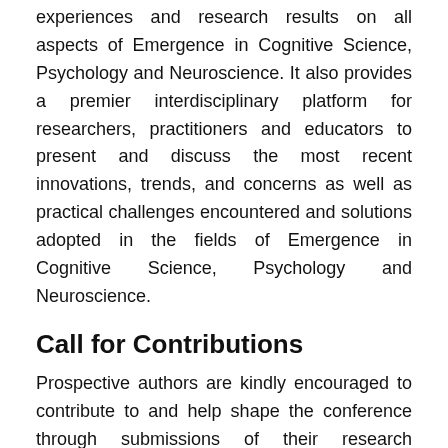experiences and research results on all aspects of Emergence in Cognitive Science, Psychology and Neuroscience. It also provides a premier interdisciplinary platform for researchers, practitioners and educators to present and discuss the most recent innovations, trends, and concerns as well as practical challenges encountered and solutions adopted in the fields of Emergence in Cognitive Science, Psychology and Neuroscience.
Call for Contributions
Prospective authors are kindly encouraged to contribute to and help shape the conference through submissions of their research abstracts, papers and e-posters. Also, high quality research contributions describing original and unpublished results of conceptual, constructive, empirical, experimental, or theoretical work in all areas of Emergence in Cognitive